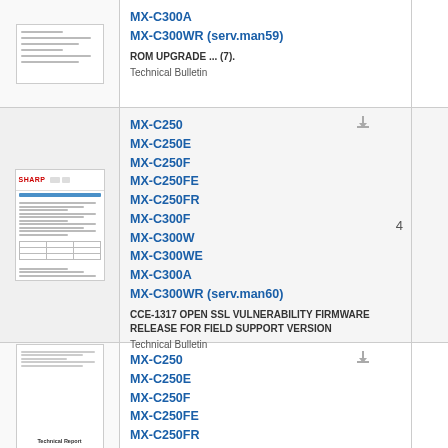[Figure (screenshot): Thumbnail preview of a Sharp technical bulletin document, simple text document]
MX-C300A
MX-C300WR (serv.man59)
ROM UPGRADE ... (7).
Technical Bulletin
[Figure (screenshot): Thumbnail preview of a Sharp technical bulletin document with SHARP logo, blue header bar, text lines, and a table]
MX-C250
MX-C250E
MX-C250F
MX-C250FE
MX-C250FR
MX-C300F
MX-C300W
MX-C300WE
MX-C300A
MX-C300WR (serv.man60)
CCE-1317 OPEN SSL VULNERABILITY FIRMWARE RELEASE FOR FIELD SUPPORT VERSION
Technical Bulletin
4
[Figure (screenshot): Thumbnail preview of a Sharp Technical Report document]
MX-C250
MX-C250E
MX-C250F
MX-C250FE
MX-C250FR